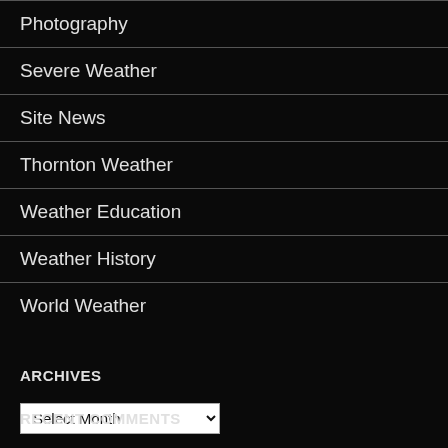Photography
Severe Weather
Site News
Thornton Weather
Weather Education
Weather History
World Weather
ARCHIVES
Select Month
RECENT COMMENTS